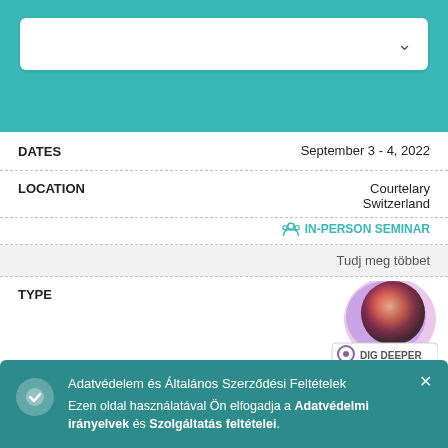DATES — September 3 - 4, 2022
LOCATION — Courtelary, Switzerland
IN-PERSON SEMINAR
Tudj meg többet
TYPE — Dig Deeper
INSTRUCTOR — Brenda Patricia Núñez Williams
DATES — September 3 - 4, 2022
L — Mexico
Adatvédelem és Általános Szerződési Feltételek
Ezen oldal használatával Ön elfogadja a Adatvédelmi irányelvek és Szolgáltatás feltételei.